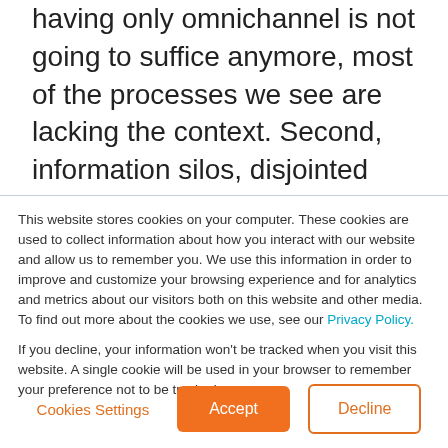having only omnichannel is not going to suffice anymore, most of the processes we see are lacking the context. Second, information silos, disjointed processes, and systems leading to standalone functions, and inducing friction in the customer engagement. And third, inordinately high IT dependency. We are seeing more and more demand of app development, application
This website stores cookies on your computer. These cookies are used to collect information about how you interact with our website and allow us to remember you. We use this information in order to improve and customize your browsing experience and for analytics and metrics about our visitors both on this website and other media. To find out more about the cookies we use, see our Privacy Policy.
If you decline, your information won't be tracked when you visit this website. A single cookie will be used in your browser to remember your preference not to be tracked.
Cookies Settings
Accept
Decline